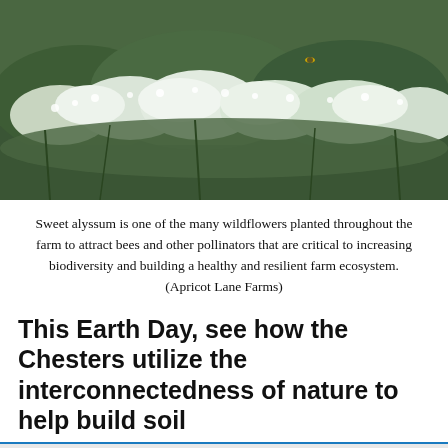[Figure (photo): A field of sweet alyssum wildflowers with small white blooms, photographed with shallow depth of field showing green foliage in the background at Apricot Lane Farms.]
Sweet alyssum is one of the many wildflowers planted throughout the farm to attract bees and other pollinators that are critical to increasing biodiversity and building a healthy and resilient farm ecosystem. (Apricot Lane Farms)
This Earth Day, see how the Chesters utilize the interconnectedness of nature to help build soil
This website uses cookies.
Accept